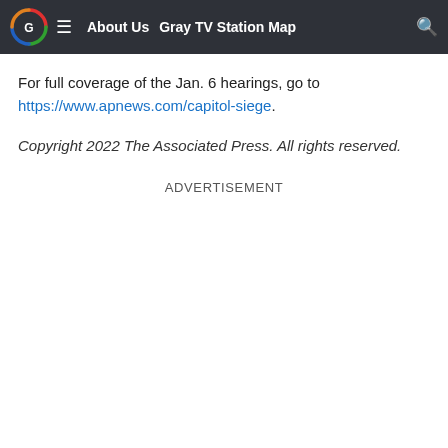About Us  Gray TV Station Map
For full coverage of the Jan. 6 hearings, go to https://www.apnews.com/capitol-siege.
Copyright 2022 The Associated Press. All rights reserved.
ADVERTISEMENT